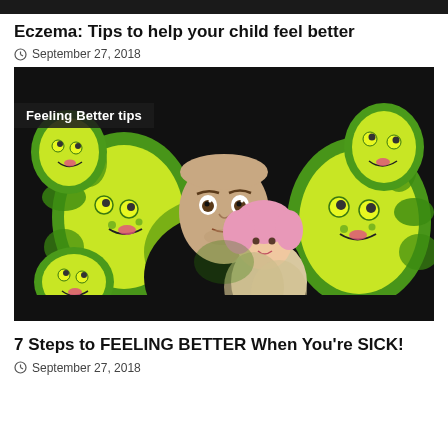Eczema: Tips to help your child feel better
September 27, 2018
[Figure (screenshot): Video thumbnail showing a man in a black shirt holding a stuffed doll with pink hair, surrounded by cartoon green germ characters on a dark background. A label reads 'Feeling Better tips' in the upper left.]
7 Steps to FEELING BETTER When You're SICK!
September 27, 2018